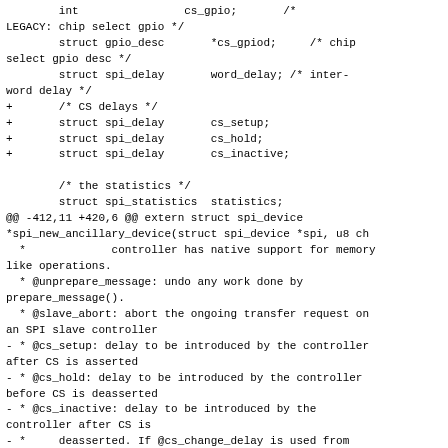int                cs_gpio;       /*
LEGACY: chip select gpio */
        struct gpio_desc       *cs_gpiod;     /* chip
select gpio desc */
        struct spi_delay       word_delay; /* inter-
word delay */
+       /* CS delays */
+       struct spi_delay       cs_setup;
+       struct spi_delay       cs_hold;
+       struct spi_delay       cs_inactive;

        /* the statistics */
        struct spi_statistics  statistics;
@@ -412,11 +420,6 @@ extern struct spi_device
*spi_new_ancillary_device(struct spi_device *spi, u8 ch
  *             controller has native support for memory
like operations.
  * @unprepare_message: undo any work done by
prepare_message().
  * @slave_abort: abort the ongoing transfer request on
an SPI slave controller
- * @cs_setup: delay to be introduced by the controller
after CS is asserted
- * @cs_hold: delay to be introduced by the controller
before CS is deasserted
- * @cs_inactive: delay to be introduced by the
controller after CS is
- *     deasserted. If @cs_change_delay is used from
@spi_transfer, then the
- *     two delays will be added up.